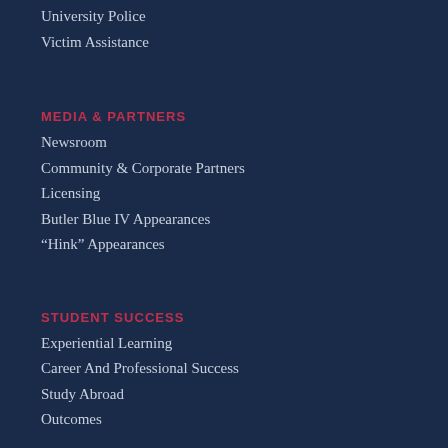University Police
Victim Assistance
MEDIA & PARTNERS
Newsroom
Community & Corporate Partners
Licensing
Butler Blue IV Appearances
“Hink” Appearances
STUDENT SUCCESS
Experiential Learning
Career And Professional Success
Study Abroad
Outcomes